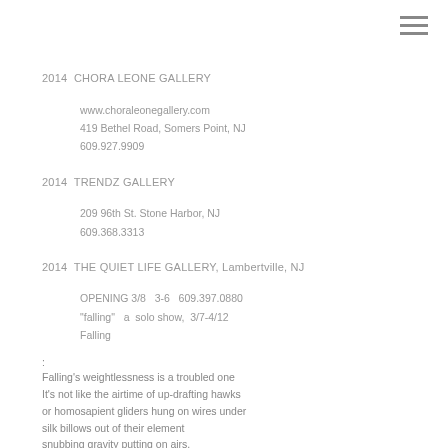2014  CHORA LEONE GALLERY
www.choraleonegallery.com
419 Bethel Road, Somers Point, NJ
609.927.9909
2014  TRENDZ GALLERY
209 96th St. Stone Harbor, NJ
609.368.3313
2014  THE QUIET LIFE GALLERY, Lambertville, NJ
OPENING 3/8   3-6   609.397.0880
"falling"   a  solo show,  3/7-4/12
Falling
:
Falling's weightlessness is a troubled one
It's not like the airtime of up-drafting hawks
or homosapient gliders hung on wires under
silk billows out of their element
snubbing gravity putting on airs,